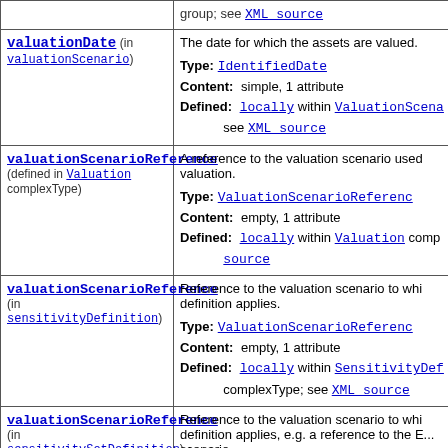| Element | Description |
| --- | --- |
| valuationDate (in valuationScenario) | The date for which the assets are valued. Type: IdentifiedDate Content: simple, 1 attribute Defined: locally within ValuationScena... see XML source |
| valuationScenarioReference (defined in Valuation complexType) | A reference to the valuation scenario used valuation. Type: ValuationScenarioReferenc... Content: empty, 1 attribute Defined: locally within Valuation comp... source |
| valuationScenarioReference (in sensitivityDefinition) | Reference to the valuation scenario to whi... definition applies. Type: ValuationScenarioReferenc... Content: empty, 1 attribute Defined: locally within SensitivityDef... complexType; see XML source... |
| valuationScenarioReference (in sensitivitySetDefinition) | Reference to the valuation scenario to whi... definition applies, e.g. a reference to the E... scenario. Type: ValuationScenarioReferenc... Content: empty, 1 attribute Defined: locally within SensitivitySe... |